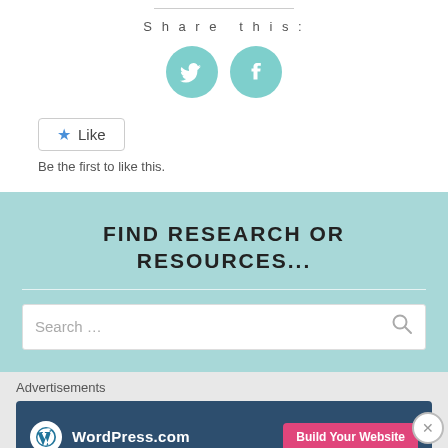[Figure (infographic): Share this section with Twitter and Facebook circular teal icon buttons]
Share this:
[Figure (infographic): Like button widget with star icon and text 'Be the first to like this.']
Be the first to like this.
FIND RESEARCH OR RESOURCES...
[Figure (screenshot): Search input box with placeholder text 'Search ...' and magnifying glass icon]
Advertisements
[Figure (infographic): WordPress.com advertisement banner with 'Build Your Website' button]